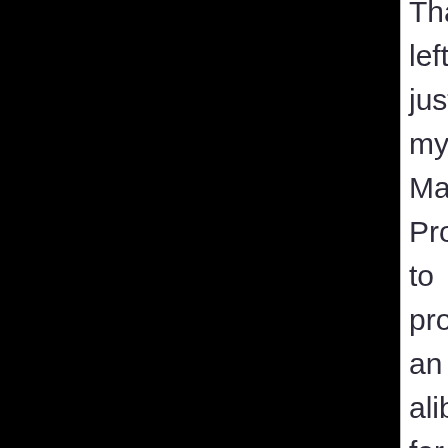That left just my MacBook Pro to provide an alibi for the night of the murder. According to the police, it showed no activity from